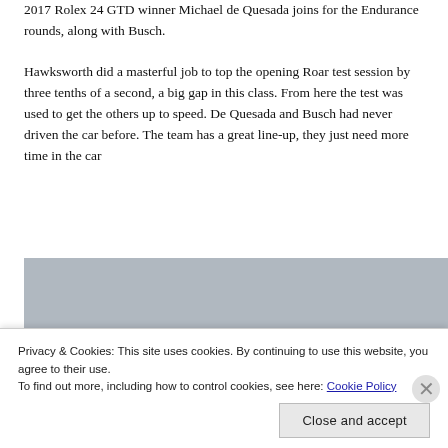2017 Rolex 24 GTD winner Michael de Quesada joins for the Endurance rounds, along with Busch.
Hawksworth did a masterful job to top the opening Roar test session by three tenths of a second, a big gap in this class. From here the test was used to get the others up to speed. De Quesada and Busch had never driven the car before. The team has a great line-up, they just need more time in the car
[Figure (photo): Racing track photo showing a race car on track with blue and white barrier stripes in the background and green grass in the foreground]
Privacy & Cookies: This site uses cookies. By continuing to use this website, you agree to their use.
To find out more, including how to control cookies, see here: Cookie Policy
Close and accept